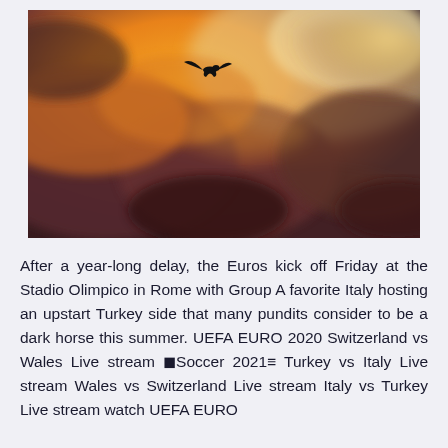[Figure (photo): Dramatic sunset sky with dark storm clouds glowing orange and golden light, with a single bird silhouetted in flight near the upper center of the image.]
After a year-long delay, the Euros kick off Friday at the Stadio Olimpico in Rome with Group A favorite Italy hosting an upstart Turkey side that many pundits consider to be a dark horse this summer. UEFA EURO 2020 Switzerland vs Wales Live stream ⬛Soccer 2021≡ Turkey vs Italy Live stream Wales vs Switzerland Live stream Italy vs Turkey Live stream watch UEFA EURO